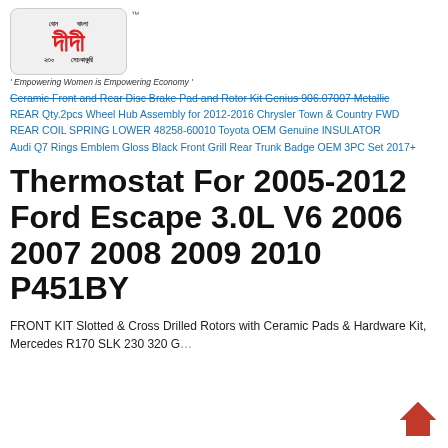[Figure (logo): Didi brand logo with colorful Bengali/Bangla text on grey rounded rectangle background, with TM mark]
' Empowering Women is Empowering Economy '
Ceramic Front and Rear Disc Brake Pad and Rotor Kit Genius 906.07007 Metallic
REAR Qty.2pcs Wheel Hub Assembly for 2012-2016 Chrysler Town & Country FWD
REAR COIL SPRING LOWER 48258-60010 Toyota OEM Genuine INSULATOR
Audi Q7 Rings Emblem Gloss Black Front Grill Rear Trunk Badge OEM 3PC Set 2017+
Thermostat For 2005-2012 Ford Escape 3.0L V6 2006 2007 2008 2009 2010 P451BY
FRONT KIT Slotted & Cross Drilled Rotors with Ceramic Pads & Hardware Kit, Mercedes R170 SLK 230 320 G...